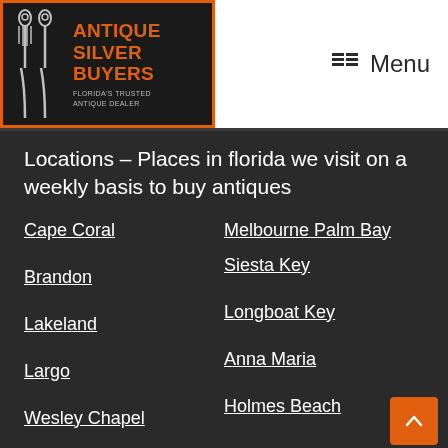[Figure (logo): Antique Silver Buyers logo with silver utensils image on left and orange text on dark background reading ANTIQUE SILVER BUYERS FLORIDA'S TRUSTED ANTIQUE DEALER]
Menu
Locations – Places in florida we visit on a weekly basis to buy antiques
Cape Coral
Melbourne Palm Bay
Brandon
Siesta Key
Lakeland
Longboat Key
Largo
Anna Maria
Wesley Chapel
Holmes Beach